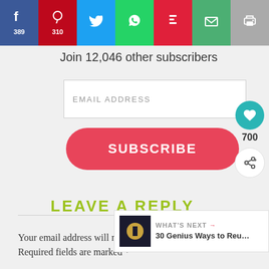[Figure (screenshot): Social sharing bar with Facebook (389), Pinterest (310), Twitter, WhatsApp, Flipboard, Email, and Print buttons]
Join 12,046 other subscribers
[Figure (screenshot): Email address input field with placeholder text EMAIL ADDRESS]
[Figure (screenshot): Subscribe button with rounded corners in pinkish-red]
LEAVE A REPLY
Your email address will not be published. Required fields are marked *